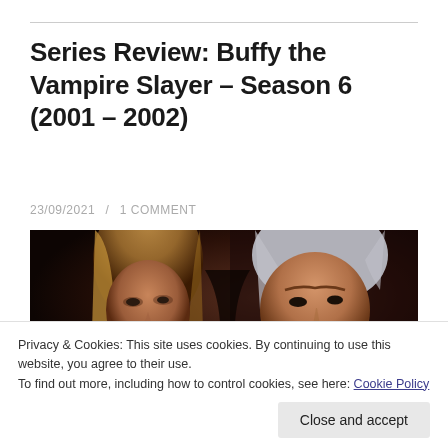Series Review: Buffy the Vampire Slayer – Season 6 (2001 – 2002)
23/09/2021  /  1 COMMENT
[Figure (photo): A dark cinematic still showing two characters facing each other closely — a woman with long blonde hair and a man with silver-grey slicked hair, in a dimly lit scene.]
Privacy & Cookies: This site uses cookies. By continuing to use this website, you agree to their use.
To find out more, including how to control cookies, see here: Cookie Policy
Close and accept